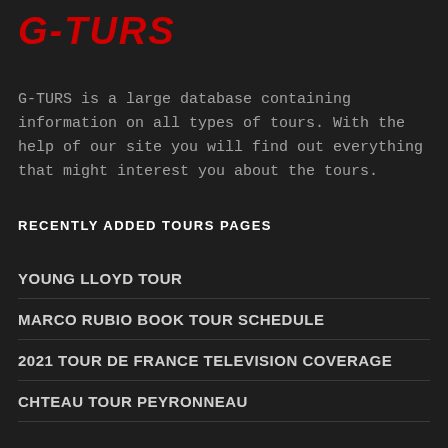G-TURS
G-TURS is a large database containing information on all types of tours. With the help of our site you will find out everything that might interest you about the tours.
RECENTLY ADDED TOURS PAGES
YOUNG LLOYD TOUR
MARCO RUBIO BOOK TOUR SCHEDULE
2021 TOUR DE FRANCE TELEVISION COVERAGE
CHTEAU TOUR PEYRONNEAU